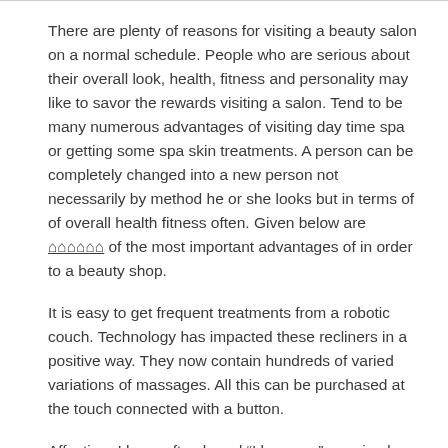There are plenty of reasons for visiting a beauty salon on a normal schedule. People who are serious about their overall look, health, fitness and personality may like to savor the rewards visiting a salon. Tend to be many numerous advantages of visiting day time spa or getting some spa skin treatments. A person can be completely changed into a new person not necessarily by method he or she looks but in terms of of overall health fitness often. Given below are ⌂⌂⌂⌂⌂⌂ of the most important advantages of in order to a beauty shop.
It is easy to get frequent treatments from a robotic couch. Technology has impacted these recliners in a positive way. They now contain hundreds of varied variations of massages. All this can be purchased at the touch connected with a button.
Affection:-I have often heard “I love you”, received or have given hugs, etc. not in the door when my client is loss. That is